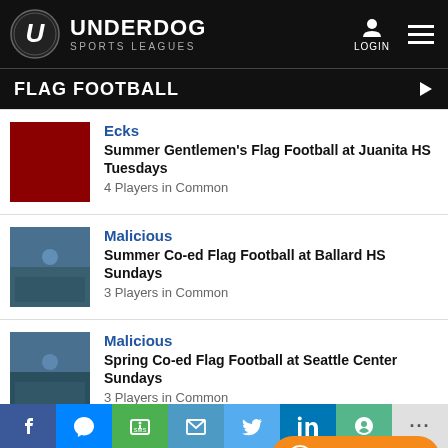UNDERDOG SPORTS LEAGUES
FLAG FOOTBALL
Ecks
Summer Gentlemen's Flag Football at Juanita HS Tuesdays
4 Players in Common
Malicious
Summer Co-ed Flag Football at Ballard HS Sundays
3 Players in Common
Malicious
Spring Co-ed Flag Football at Seattle Center Sundays
3 Players in Common
Ecks
Share bar: Facebook, Messenger, SMS, Email, Twitter, LinkedIn, Slack, More